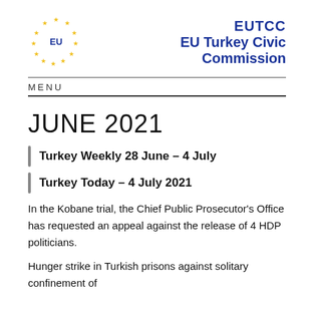[Figure (logo): EU circle of stars logo with 'EU' text in center]
EUTCC
EU Turkey Civic Commission
MENU
JUNE 2021
Turkey Weekly 28 June – 4 July
Turkey Today – 4 July 2021
In the Kobane trial, the Chief Public Prosecutor's Office has requested an appeal against the release of 4 HDP politicians.
Hunger strike in Turkish prisons against solitary confinement of